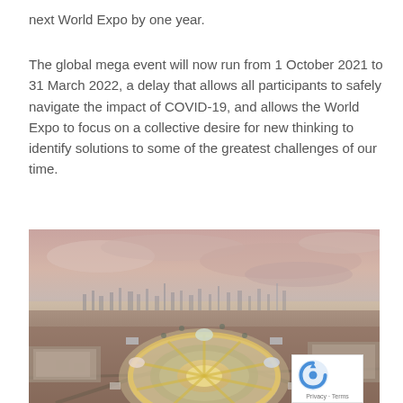next World Expo by one year.
The global mega event will now run from 1 October 2021 to 31 March 2022, a delay that allows all participants to safely navigate the impact of COVID-19, and allows the World Expo to focus on a collective desire for new thinking to identify solutions to some of the greatest challenges of our time.
[Figure (photo): Aerial view of the Expo 2020 Dubai site at dusk, showing the circular main pavilion complex with surrounding structured buildings, desert landscape, and the Dubai city skyline in the background under a pink and purple sky.]